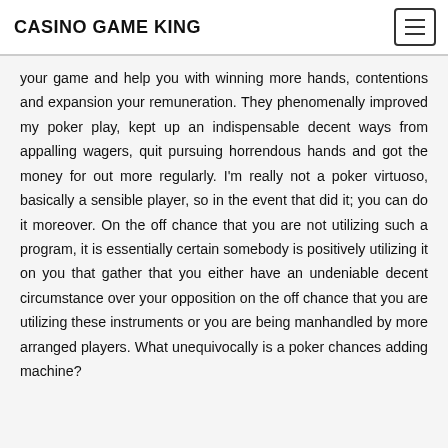CASINO GAME KING
your game and help you with winning more hands, contentions and expansion your remuneration. They phenomenally improved my poker play, kept up an indispensable decent ways from appalling wagers, quit pursuing horrendous hands and got the money for out more regularly. I'm really not a poker virtuoso, basically a sensible player, so in the event that did it; you can do it moreover. On the off chance that you are not utilizing such a program, it is essentially certain somebody is positively utilizing it on you that gather that you either have an undeniable decent circumstance over your opposition on the off chance that you are utilizing these instruments or you are being manhandled by more arranged players. What unequivocally is a poker chances adding machine?